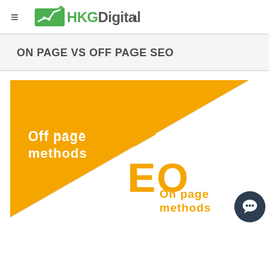HKGDigital
ON PAGE VS OFF PAGE SEO
[Figure (infographic): Infographic showing On Page vs Off Page SEO with an orange triangle divided diagonally. The upper-left orange section is labeled 'Off page methods' in white text, and the lower-right white section is labeled 'On page methods' in orange text. The word 'SEO' appears large in the center in white/orange bold text.]